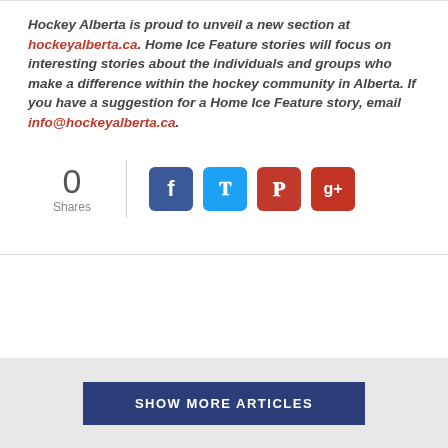Hockey Alberta is proud to unveil a new section at hockeyalberta.ca. Home Ice Feature stories will focus on interesting stories about the individuals and groups who make a difference within the hockey community in Alberta. If you have a suggestion for a Home Ice Feature story, email info@hockeyalberta.ca.
0 Shares
[Figure (infographic): Social share buttons: Facebook, Twitter, Pinterest, Google+]
SHOW MORE ARTICLES